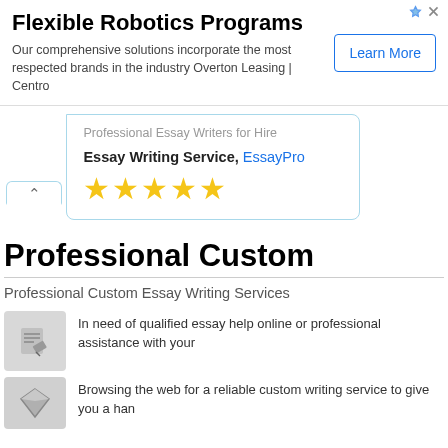[Figure (infographic): Ad banner for Flexible Robotics Programs with Learn More button]
Flexible Robotics Programs
Our comprehensive solutions incorporate the most respected brands in the industry Overton Leasing | Centro
[Figure (infographic): Tooltip popup showing Professional Essay Writers for Hire with EssayPro link and 5 gold stars]
Professional Essay Writers for Hire
Essay Writing Service, EssayPro
Professional Custom
Professional Custom Essay Writing Services
In need of qualified essay help online or professional assistance with your
Browsing the web for a reliable custom writing service to give you a han